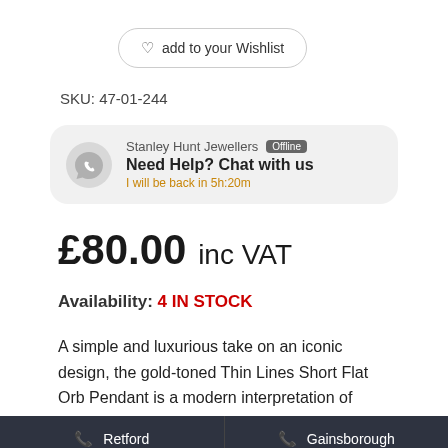add to your Wishlist
SKU: 47-01-244
Stanley Hunt Jewellers Offline
Need Help? Chat with us
I will be back in 5h:20m
£80.00 inc VAT
Availability: 4 IN STOCK
A simple and luxurious take on an iconic design, the gold-toned Thin Lines Short Flat Orb Pendant is a modern interpretation of
Retford  Gainsborough